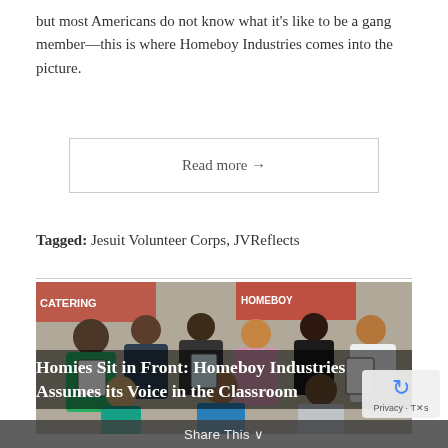but most Americans do not know what it's like to be a gang member—this is where Homeboy Industries comes into the picture.
Read more →
Tagged: Jesuit Volunteer Corps, JVReflects
[Figure (photo): Group photo of people holding certificates/diplomas in front of a Homeboy Industries catering sign. Several men in black t-shirts stand in the back row; a woman in pink stands in the center; a blonde woman and two men sit in front.]
Homies Sit in Front: Homeboy Industries Assumes its Voice in the Classroom